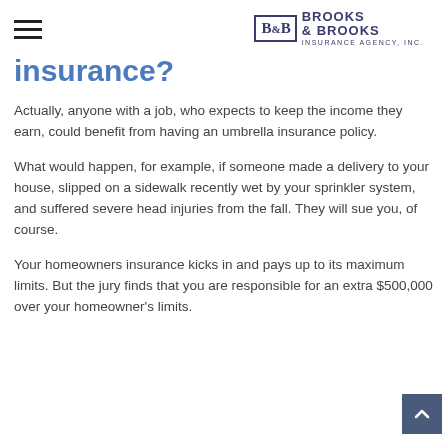Brooks & Brooks Insurance Agency, Inc.
insurance?
Actually, anyone with a job, who expects to keep the income they earn, could benefit from having an umbrella insurance policy.
What would happen, for example, if someone made a delivery to your house, slipped on a sidewalk recently wet by your sprinkler system, and suffered severe head injuries from the fall. They will sue you, of course.
Your homeowners insurance kicks in and pays up to its maximum limits. But the jury finds that you are responsible for an extra $500,000 over your homeowner's limits.